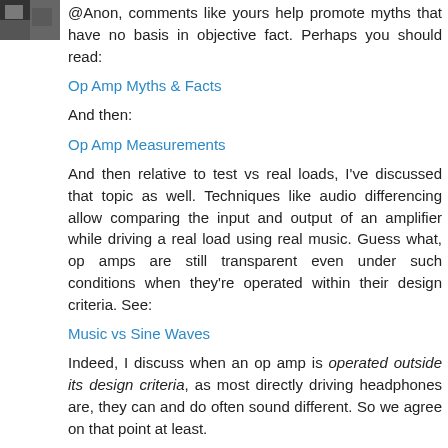[Figure (photo): Small avatar/profile image in top-left corner, dark/grey tones]
@Anon, comments like yours help promote myths that have no basis in objective fact. Perhaps you should read:
Op Amp Myths & Facts
And then:
Op Amp Measurements
And then relative to test vs real loads, I've discussed that topic as well. Techniques like audio differencing allow comparing the input and output of an amplifier while driving a real load using real music. Guess what, op amps are still transparent even under such conditions when they're operated within their design criteria. See:
Music vs Sine Waves
Indeed, I discuss when an op amp is operated outside its design criteria, as most directly driving headphones are, they can and do often sound different. So we agree on that point at least.